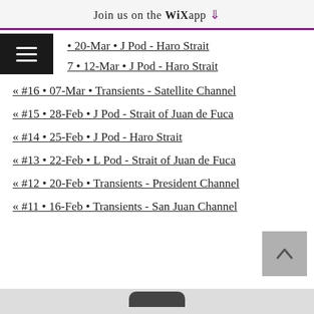Join us on the WiX app ⬇
• 20-Mar • J Pod - Haro Strait
• 12-Mar • J Pod - Haro Strait
« #16 • 07-Mar • Transients - Satellite Channel
« #15 • 28-Feb • J Pod - Strait of Juan de Fuca
« #14 • 25-Feb • J Pod - Haro Strait
« #13 • 22-Feb • L Pod - Strait of Juan de Fuca
« #12 • 20-Feb • Transients - President Channel
« #11 • 16-Feb • Transients - San Juan Channel